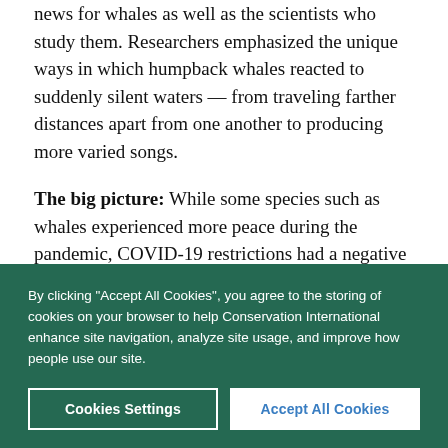news for whales as well as the scientists who study them. Researchers emphasized the unique ways in which humpback whales reacted to suddenly silent waters — from traveling farther distances apart from one another to producing more varied songs.
The big picture: While some species such as whales experienced more peace during the pandemic, COVID-19 restrictions had a negative effect on wildlife in other parts of the world. For example, recent reports from Conservation International field offices suggest that poaching and
By clicking "Accept All Cookies", you agree to the storing of cookies on your browser to help Conservation International enhance site navigation, analyze site usage, and improve how people use our site.